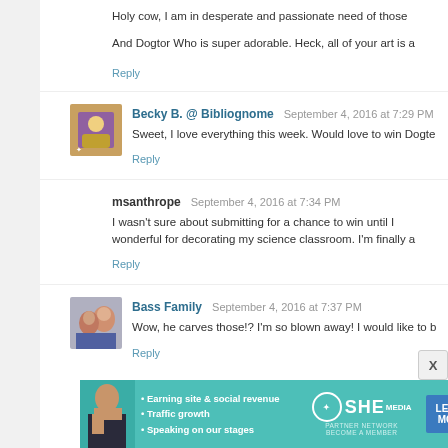Holy cow, I am in desperate and passionate need of those
And Dogtor Who is super adorable. Heck, all of your art is a
Reply
Becky B. @ Bibliognome  September 4, 2016 at 7:29 PM
Sweet, I love everything this week. Would love to win Dogte
Reply
msanthrope  September 4, 2016 at 7:34 PM
I wasn't sure about submitting for a chance to win until I wonderful for decorating my science classroom. I'm finally a
Reply
Bass Family  September 4, 2016 at 7:37 PM
Wow, he carves those!? I'm so blown away! I would like to b
Reply
[Figure (infographic): SHE Partner Network advertisement banner with teal background, woman photo, bullet points about earning site & social revenue, traffic growth, speaking on stages, SHE logo, and Learn More button]